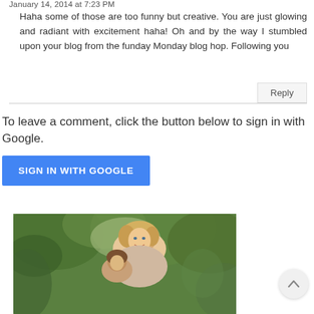January 14, 2014 at 7:23 PM
Haha some of those are too funny but creative. You are just glowing and radiant with excitement haha! Oh and by the way I stumbled upon your blog from the funday Monday blog hop. Following you
Reply
To leave a comment, click the button below to sign in with Google.
SIGN IN WITH GOOGLE
[Figure (photo): Photo of a smiling blonde woman hugging a child, outdoors with green foliage in background]